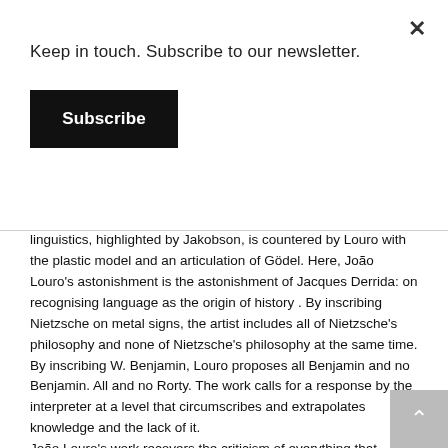Keep in touch. Subscribe to our newsletter.
Subscribe
linguistics, highlighted by Jakobson, is countered by Louro with the plastic model and an articulation of Gödel. Here, João Louro's astonishment is the astonishment of Jacques Derrida: on recognising language as the origin of history . By inscribing Nietzsche on metal signs, the artist includes all of Nietzsche's philosophy and none of Nietzsche's philosophy at the same time. By inscribing W. Benjamin, Louro proposes all Benjamin and no Benjamin. All and no Rorty. The work calls for a response by the interpreter at a level that circumscribes and extrapolates knowledge and the lack of it.
João Louro's work recovers the criticism of everything that confuses, is missing, is in excess, fractures, makes fragile, obscures, causes friction, contradicts, clarifies, deviates, distorts, corrupts, reinvents, affirms, pilfers, denies, through the most difficult extremity, the extreme need that we have for language, to the extent that it can be seen as a kind of exacerbated denial. That is because, as the artist says, "the